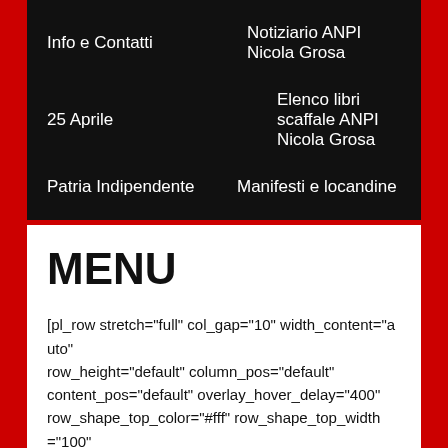Info e Contatti    Notiziario ANPI Nicola Grosa
25 Aprile    Elenco libri scaffale ANPI Nicola Grosa
Patria Indipendente    Manifesti e locandine
MENU
[pl_row stretch="full" col_gap="10" width_content="auto" row_height="default" column_pos="default" content_pos="default" overlay_hover_delay="400" row_shape_top_color="#fff" row_shape_top_width="100" row_shape_top_height="100" row_shape_bottom_color="#fff" row_shape_bottom_width="100" row_shape_bottom_height="100" ele_bg_hover_delay="400" ele_bg_type="image" ele_bg_img="19" ele_padding="12em,0em,12em,0em"